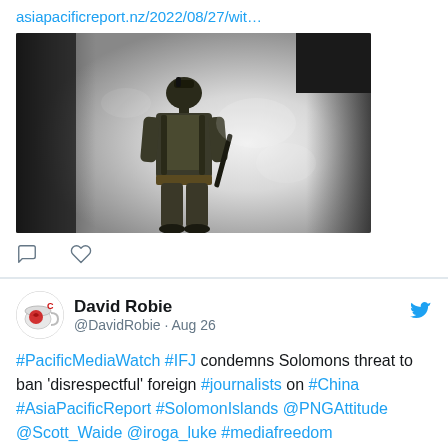asiapacificreport.nz/2022/08/27/wit…
[Figure (photo): A soldier in military gear and helmet viewed from behind, standing in a smoky/hazy environment with bright white light in background. Dark structures visible on left and right edges.]
David Robie @DavidRobie · Aug 26
#PacificMediaWatch #IFJ condemns Solomons threat to ban 'disrespectful' foreign #journalists on #China #AsiaPacificReport #SolomonIslands @PNGAttitude @Scott_Waide @iroga_luke #mediafreedom #PressFreedom @RSF_inter